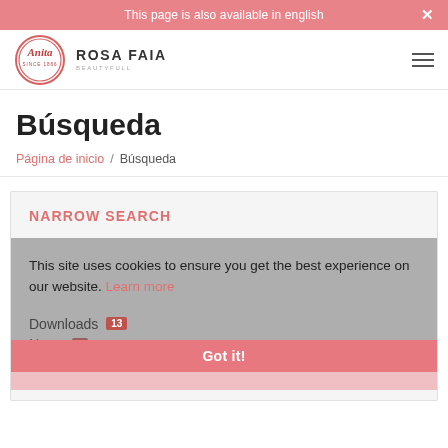This page is also available in english
[Figure (logo): Anita since 1886 oval logo with Rosa Faia Beautyfull text]
Búsqueda
Página de inicio / Búsqueda
NARROW SEARCH
This site uses cookies to ensure you get the best experience on our website. Learn more
Downloads 13
News 5
Got it!
Pages 1